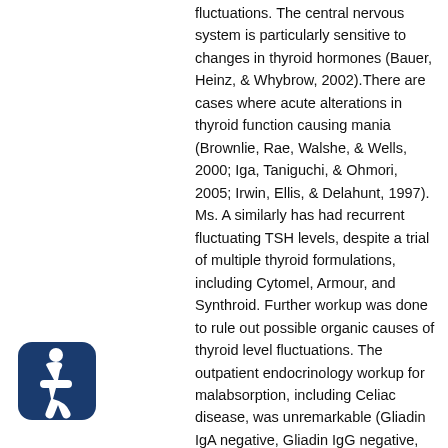fluctuations. The central nervous system is particularly sensitive to changes in thyroid hormones (Bauer, Heinz, & Whybrow, 2002).There are cases where acute alterations in thyroid function causing mania (Brownlie, Rae, Walshe, & Wells, 2000; Iga, Taniguchi, & Ohmori, 2005; Irwin, Ellis, & Delahunt, 1997). Ms. A similarly has had recurrent fluctuating TSH levels, despite a trial of multiple thyroid formulations, including Cytomel, Armour, and Synthroid. Further workup was done to rule out possible organic causes of thyroid level fluctuations. The outpatient endocrinology workup for malabsorption, including Celiac disease, was unremarkable (Gliadin IgA negative, Gliadin IgG negative, Tissue Transglut IgA negative, Tissue Transglut negative). Thyroid autoimmune workup, with antibodies to thyroid peroxidase antibody (TPO) and thyroid-stimulating immunoglobulins (TSI), was negative. Ultimately, we do not see any overt
[Figure (illustration): Accessibility icon — white wheelchair user symbol on a dark blue rounded square background]